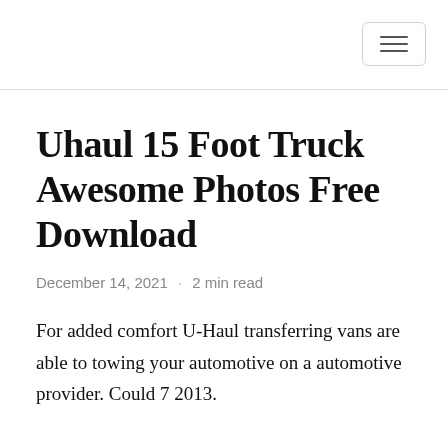Uhaul 15 Foot Truck Awesome Photos Free Download
December 14, 2021 · 2 min read
For added comfort U-Haul transferring vans are able to towing your automotive on a automotive provider. Could 7 2013.